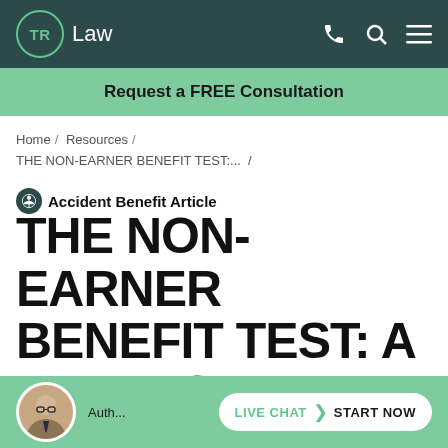TR Law
Request a FREE Consultation
Home / Resources / THE NON-EARNER BENEFIT TEST:... /
Accident Benefit Article
THE NON-EARNER BENEFIT TEST: A REFRESHER
Author [photo] LIVE CHAT > START NOW